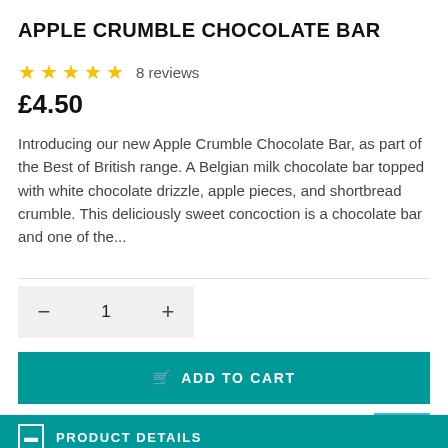APPLE CRUMBLE CHOCOLATE BAR
★★★★★ 8 reviews
£4.50
Introducing our new Apple Crumble Chocolate Bar, as part of the Best of British range. A Belgian milk chocolate bar topped with white chocolate drizzle, apple pieces, and shortbread crumble. This deliciously sweet concoction is a chocolate bar and one of the...
[Figure (screenshot): Quantity selector with minus button, 1, and plus button, followed by teal ADD TO CART button]
PRODUCT DETAILS
Introducing our new Apple Crumble Chocolate Bar, as part of